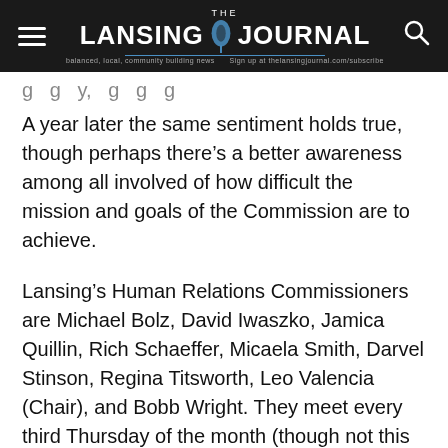THE LANSING JOURNAL
g g y, g g g
A year later the same sentiment holds true, though perhaps there’s a better awareness among all involved of how difficult the mission and goals of the Commission are to achieve.
Lansing’s Human Relations Commissioners are Michael Bolz, David Iwaszko, Jamica Quillin, Rich Schaeffer, Micaela Smith, Darvel Stinson, Regina Titsworth, Leo Valencia (Chair), and Bobb Wright. They meet every third Thursday of the month (though not this December) in the lower level of the Lansing Public Library, 2750 Indiana Avenue. The